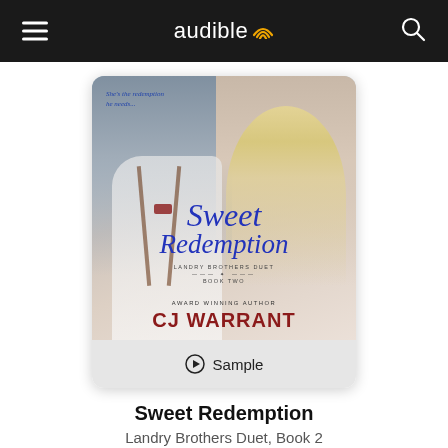audible
[Figure (illustration): Book cover for 'Sweet Redemption' by CJ Warrant, Landry Brothers Duet Book Two. Shows a man and woman facing each other about to kiss. Tagline: 'She's the redemption he needs...' Title in blue script, author name in dark red bold text.]
Sample
Sweet Redemption
Landry Brothers Duet, Book 2